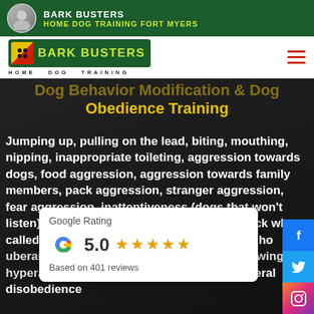BARK BUSTERS HOME DOG TRAINING FORT MYERS
[Figure (logo): Bark Busters Home Dog Training logo with green badge and yellow text]
Dog Behavior Modification & Dog Obedience Training
Jumping up, pulling on the lead, biting, mouthing, nipping, inappropriate toileting, aggression towards dogs, food aggression, aggression towards family members, pack aggression, stranger aggression, fear aggression, inattentiveness (dogs that won't listen), poor recall (dogs that won't come back when called), destructive behaviors, chasing cats, ho... uberance, nuisance ba... ing, separation an... hewing, hyperactivit... item obsession, phobias or general disobedience
[Figure (infographic): Google Rating card showing 5.0 stars based on 401 reviews]
[Figure (infographic): Social media icons: Facebook, Twitter, Instagram]